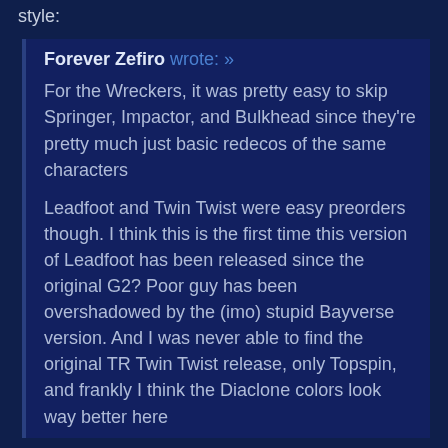style:
Forever Zefiro wrote: »
For the Wreckers, it was pretty easy to skip Springer, Impactor, and Bulkhead since they're pretty much just basic redecos of the same characters

Leadfoot and Twin Twist were easy preorders though. I think this is the first time this version of Leadfoot has been released since the original G2? Poor guy has been overshadowed by the (imo) stupid Bayverse version. And I was never able to find the original TR Twin Twist release, only Topspin, and frankly I think the Diaclone colors look way better here
I think I bought my Twin Twist from Entertainment Earth since I never saw him in the stores (like pretty much everybody) and don't have an Ollie's near me when they showed up there. Ticked me off that they didn't reissue him and am happy for everybody to finally get a TR Twin Twist for their shelves in one fashion. I almost bought the Leadfoot since I liked the look of him, but ended up passing since I'm trying to get rid of